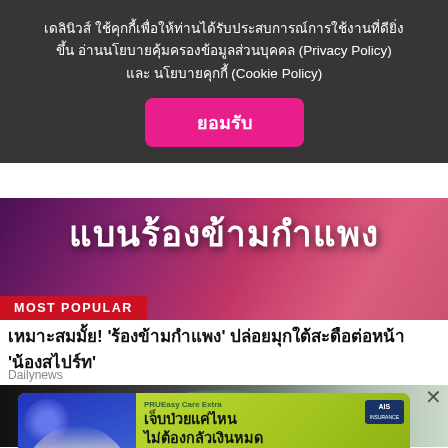เดลินิวส์ ใช้คุกกี้เพื่อให้ท่านได้รับประสบการณ์การใช้งานที่ดียิ่งขึ้น อ่านนโยบายคุ้มครองข้อมูลส่วนบุคคล (Privacy Policy) และ นโยบายคุกกี้ (Cookie Policy)
ยอมรับ
[Figure (screenshot): Hero banner with Thai text แบนร้องข้ามกำแพง and MOST POPULAR badge on red background]
เหมาะสมมั้ย! 'ร้องข้ามกำแพง' ปล่อยมุกใต้สะดือต่อหน้า 'น้องสไปร์ท'
Dailynews
[Figure (photo): Partial photo of a round object on dark background]
[Figure (screenshot): Advertisement banner for PRUEasy Care Extra insurance: เจ็บป่วยแค่ไหน ไม่ต้องกลัวเงินหมด คุ้มครองแผนเหมาจ่ายสูงสุด 500,000 บาท with nurse image and ดูรายละเอียด button, AIA logo]